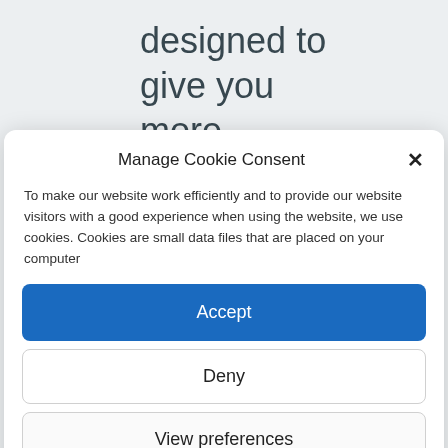designed to give you more information
Manage Cookie Consent
To make our website work efficiently and to provide our website visitors with a good experience when using the website, we use cookies. Cookies are small data files that are placed on your computer
Accept
Deny
View preferences
Cookie Information   Privacy